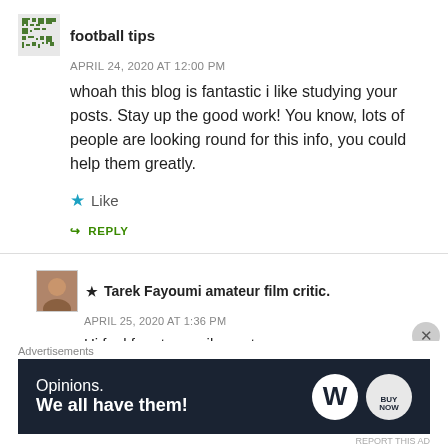football tips
APRIL 24, 2020 AT 12:00 PM
whoah this blog is fantastic i like studying your posts. Stay up the good work! You know, lots of people are looking round for this info, you could help them greatly.
★ Like
↪ REPLY
★ Tarek Fayoumi amateur film critic.
APRIL 25, 2020 AT 1:36 PM
Hi feel free to email me at tarekfayoumi@comcast.net or
Advertisements
[Figure (other): WordPress advertisement banner: 'Opinions. We all have them!' with WordPress and another logo on dark navy background.]